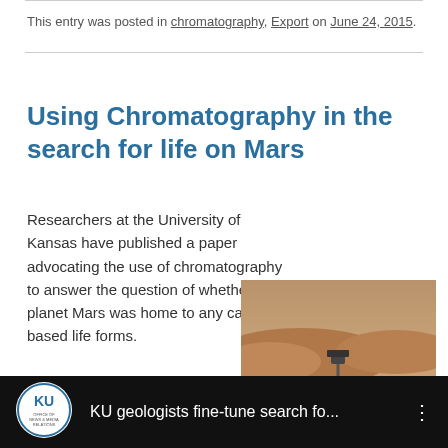This entry was posted in chromatography, Export on June 24, 2015.
Using Chromatography in the search for life on Mars
Researchers at the University of Kansas have published a paper advocating the use of chromatography to answer the question of whether the planet Mars was home to any carbon-based life forms.
[Figure (photo): Mars rover on the Martian surface with reddish terrain and hills in the background]
[Figure (screenshot): Video thumbnail with KU (University of Kansas) logo and title 'KU geologists fine-tune search fo...' on black background]